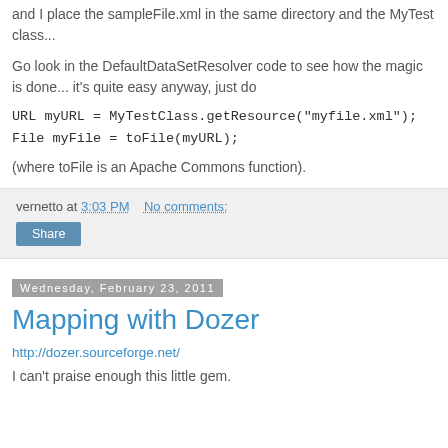and I place the sampleFile.xml in the same directory and the MyTest class...
Go look in the DefaultDataSetResolver code to see how the magic is done... it's quite easy anyway, just do
URL myURL = MyTestClass.getResource("myfile.xml");
File myFile = toFile(myURL);
(where toFile is an Apache Commons function).
vernetto at 3:03 PM   No comments:
Share
Wednesday, February 23, 2011
Mapping with Dozer
http://dozer.sourceforge.net/
I can't praise enough this little gem.